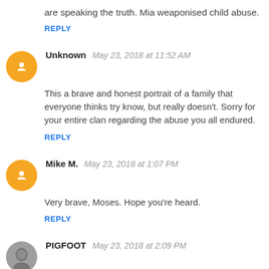are speaking the truth. Mia weaponised child abuse.
REPLY
Unknown   May 23, 2018 at 11:52 AM
This a brave and honest portrait of a family that everyone thinks try know, but really doesn't. Sorry for your entire clan regarding the abuse you all endured.
REPLY
Mike M.   May 23, 2018 at 1:07 PM
Very brave, Moses. Hope you're heard.
REPLY
PIGFOOT   May 23, 2018 at 2:09 PM
Very brave and vivid testimony, Moses. I hope your relationship improves with your mother, if possible, and with your father. Did not realize the fate of your siblings, of which I am terribly